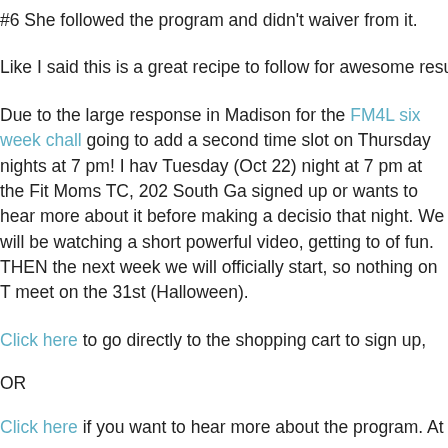#6 She followed the program and didn't waiver from it.
Like I said this is a great recipe to follow for awesome results no programs, P90X, CrossFit, Zumba, or the hundreds of other prog
Due to the large response in Madison for the FM4L six week chall going to add a second time slot on Thursday nights at 7 pm! I hav Tuesday (Oct 22) night at 7 pm at the Fit Moms TC, 202 South Ga signed up or wants to hear more about it before making a decisio that night. We will be watching a short powerful video, getting to of fun. THEN the next week we will officially start, so nothing on T meet on the 31st (Halloween).
Click here to go directly to the shopping cart to sign up,
OR
Click here if you want to hear more about the program. At the o